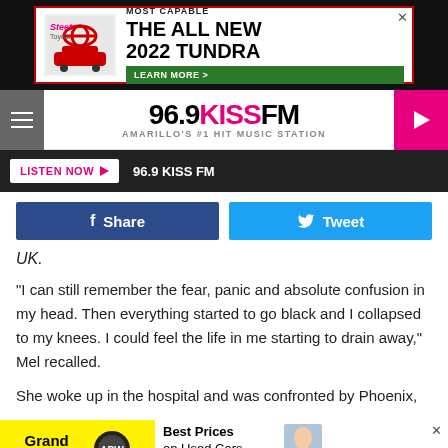[Figure (screenshot): Advertisement banner for 2022 Toyota Tundra with text MOST CAPABLE THE ALL NEW 2022 TUNDRA and LEARN MORE button]
[Figure (logo): 96.9 KISS FM radio station logo - Amarillo's #1 Hit Music Station]
LISTEN NOW ▶  96.9 KISS FM
[Figure (screenshot): Facebook Share button and Twitter Tweet button]
UK.
"I can still remember the fear, panic and absolute confusion in my head. Then everything started to go black and I collapsed to my knees. I could feel the life in me starting to drain away," Mel recalled.
She woke up in the hospital and was confronted by Phoenix,
[Figure (screenshot): Bottom advertisement: Grand Opening and Best Prices on Used Cars - Without Haggling?]